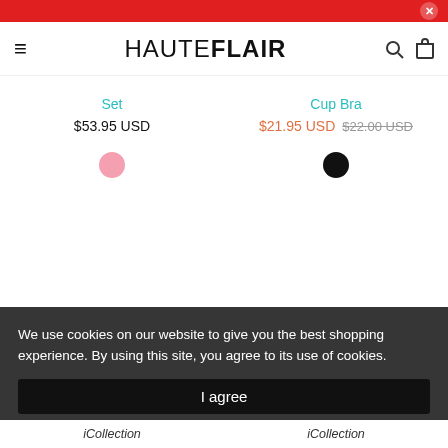HAUTEFLAIR
Set
$53.95 USD
Cup Bra
$21.95 USD $22.00 USD
We use cookies on our website to give you the best shopping experience. By using this site, you agree to its use of cookies.
I agree
iCollection
iCollection